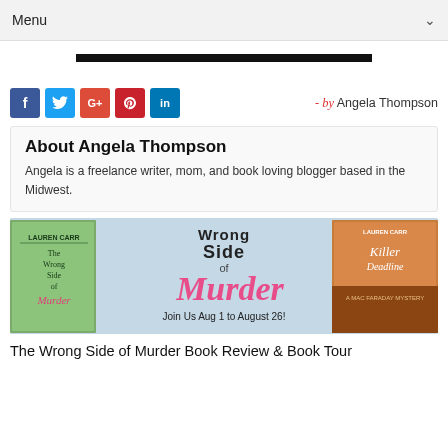Menu
[Figure (other): Black banner/advertisement strip at top of page]
[Figure (other): Social media share icons: Facebook, Twitter, Google+, Pinterest, LinkedIn]
- by Angela Thompson
About Angela Thompson
Angela is a freelance writer, mom, and book loving blogger based in the Midwest.
[Figure (illustration): Book tour banner for 'The Wrong Side of Murder' by Lauren Carr showing book covers and pink script text 'Wrong Side of Murder' with text 'Join Us Aug 1 to August 26!']
The Wrong Side of Murder Book Review & Book Tour